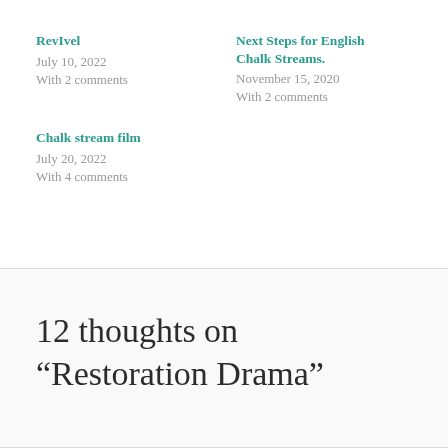RevIvel
July 10, 2022
With 2 comments
Next Steps for English Chalk Streams.
November 15, 2020
With 2 comments
Chalk stream film
July 20, 2022
With 4 comments
12 thoughts on “Restoration Drama”